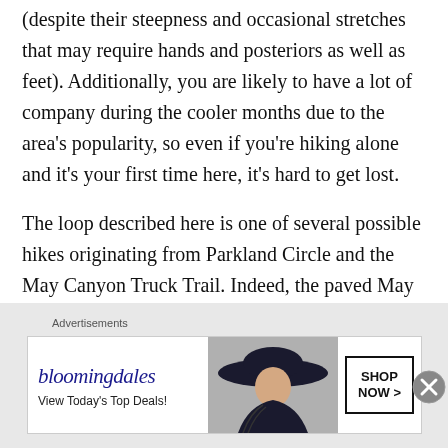(despite their steepness and occasional stretches that may require hands and posteriors as well as feet). Additionally, you are likely to have a lot of company during the cooler months due to the area's popularity, so even if you're hiking alone and it's your first time here, it's hard to get lost.
The loop described here is one of several possible hikes originating from Parkland Circle and the May Canyon Truck Trail. Indeed, the paved May Canyon Truck Trail is an alternate route either up or down for those who don't want to deal with the steepness of the ridges. The Truck Trail continues all the way up to Santa
Advertisements
[Figure (other): Bloomingdales advertisement banner with logo, 'View Today's Top Deals!' tagline, woman in wide-brim hat image, and 'SHOP NOW >' button]